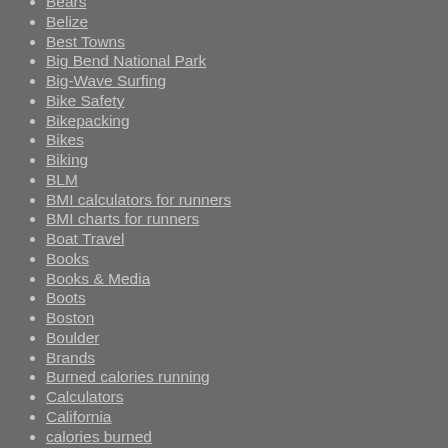Bears
Belize
Best Towns
Big Bend National Park
Big-Wave Surfing
Bike Safety
Bikepacking
Bikes
Biking
BLM
BMI calculators for runners
BMI charts for runners
Boat Travel
Books
Books & Media
Boots
Boston
Boulder
Brands
Burned calories running
Calculators
California
calories burned
calories burned running
Camera Accessories